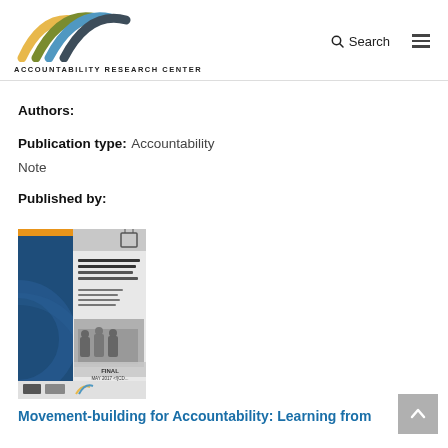Accountability Research Center — Search
Authors:
Publication type: Accountability Note
Published by:
[Figure (illustration): Cover image of the publication 'Movement-building for Accountability: Learning from Indonesia's Citizen Reporting']
Movement-building for Accountability: Learning from Indonesia's Citizen Reporting